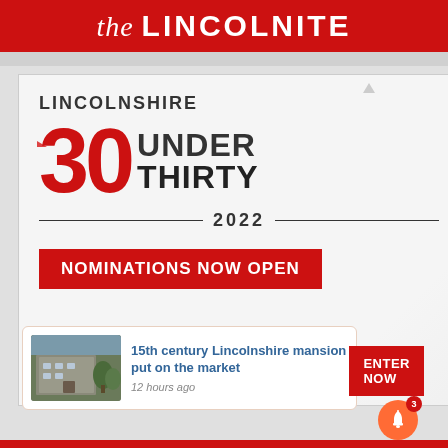the LINCOLNITE
[Figure (infographic): Lincolnshire 30 Under Thirty 2022 promotional graphic with sponsors including Stonebow Media, the Lincolnite, Sparkhouse, Lincoln College, Streets, and Strait & Narrow. Contains 'NOMINATIONS NOW OPEN' button.]
15th century Lincolnshire mansion put on the market
12 hours ago
ENTER NOW